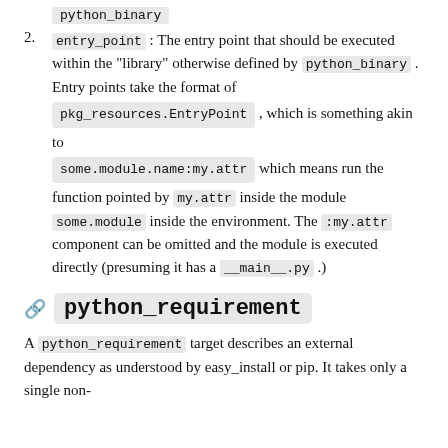entry_point : The entry point that should be executed within the "library" otherwise defined by python_binary . Entry points take the format of pkg_resources.EntryPoint , which is something akin to some.module.name:my.attr which means run the function pointed by my.attr inside the module some.module inside the environment. The :my.attr component can be omitted and the module is executed directly (presuming it has a __main__.py .)
python_requirement
A python_requirement target describes an external dependency as understood by easy_install or pip. It takes only a single non-